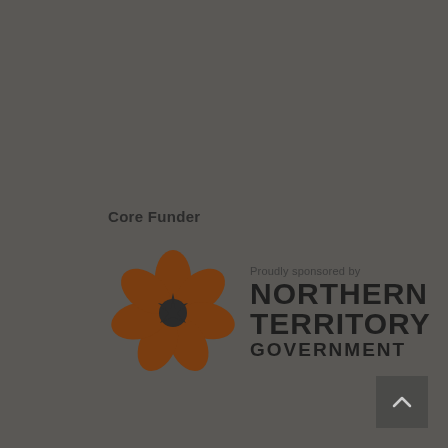Core Funder
[Figure (logo): Northern Territory Government logo: a brown flower/petal design with a dark star center, alongside text 'Proudly sponsored by NORTHERN TERRITORY GOVERNMENT']
[Figure (other): Back-to-top arrow button in bottom right corner]